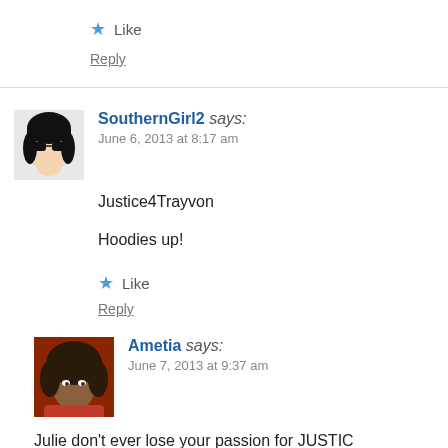★ Like
Reply
SouthernGirl2 says:
June 6, 2013 at 8:17 am
Justice4Trayvon

Hoodies up!
★ Like
Reply
Ametia says:
June 7, 2013 at 9:37 am
Julie don't ever lose your passion for JUSTIC